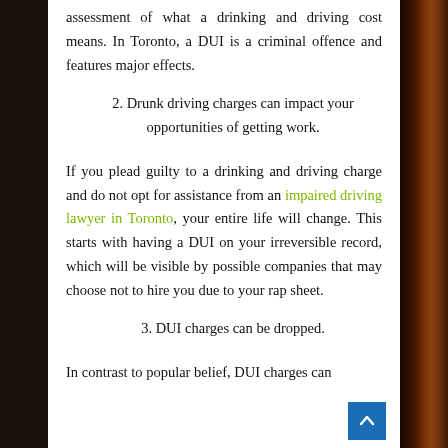assessment of what a drinking and driving cost means. In Toronto, a DUI is a criminal offence and features major effects.
2. Drunk driving charges can impact your opportunities of getting work.
If you plead guilty to a drinking and driving charge and do not opt for assistance from an impaired driving lawyer in Toronto, your entire life will change. This starts with having a DUI on your irreversible record, which will be visible by possible companies that may choose not to hire you due to your rap sheet.
3. DUI charges can be dropped.
In contrast to popular belief, DUI charges can